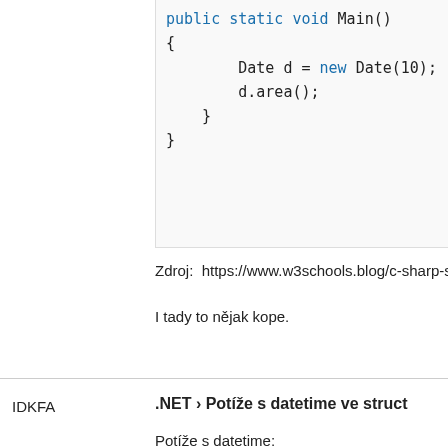[Figure (screenshot): Code block showing C# Main() method with Date object creation and d.area() call]
Zdroj:  https://www.w3schools.blog/c-sharp-structs
I tady to nějak kope.
IDKFA
.NET › Potíže s datetime ve struct
Potíže s datetime:
- Vytvořit strukturu s jednotlivými položkami datu
- Vzít aktuální datum a čas a vyplnit struct aktuáln
- Vypsat